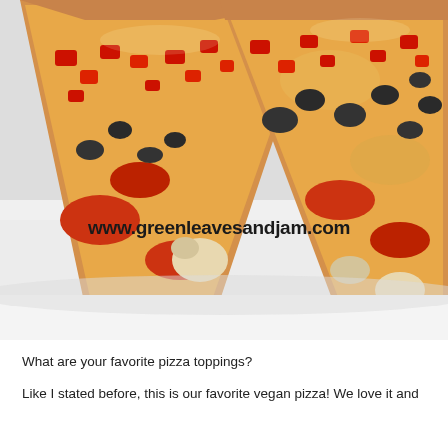[Figure (photo): Close-up photo of two slices of vegan pizza with red bell peppers, mushrooms, and onions on a white plate, with watermark text 'www.greenleavesandjam.com']
What are your favorite pizza toppings?
Like I stated before, this is our favorite vegan pizza! We love it and